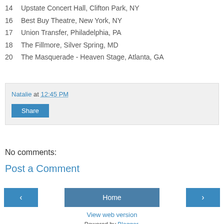14   Upstate Concert Hall, Clifton Park, NY
16   Best Buy Theatre, New York, NY
17   Union Transfer, Philadelphia, PA
18   The Fillmore, Silver Spring, MD
20   The Masquerade - Heaven Stage, Atlanta, GA
Natalie at 12:45 PM
Share
No comments:
Post a Comment
‹
Home
›
View web version
Powered by Blogger.